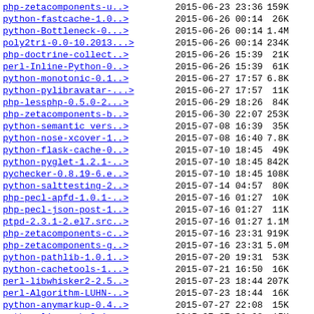php-zetacomponents-u..>  2015-06-23 23:36  159K
python-fastcache-1.0..>  2015-06-26 00:14   26K
python-Bottleneck-0...>  2015-06-26 00:14  1.4M
poly2tri-0.0-10.2013...>  2015-06-26 00:14  234K
php-doctrine-collect..>  2015-06-26 15:39   21K
perl-Inline-Python-0...>  2015-06-26 15:39   61K
python-monotonic-0.1..>  2015-06-27 17:57  6.8K
python-pylibravatar-...>  2015-06-27 17:57   11K
php-lessphp-0.5.0-2...>  2015-06-29 18:26   84K
php-zetacomponents-b..>  2015-06-30 22:07  253K
python-semantic_vers..>  2015-07-08 16:39   35K
python-nose-xcover-1..>  2015-07-08 16:40  7.8K
python-flask-cache-0..>  2015-07-10 18:45   49K
python-pyglet-1.2.1-..>  2015-07-10 18:45  842K
pychecker-0.8.19-6.e..>  2015-07-10 18:45  108K
python-salttesting-2..>  2015-07-14 04:57   80K
php-pecl-apfd-1.0.1-..>  2015-07-16 01:27   10K
php-pecl-json-post-1..>  2015-07-16 01:27   11K
ptpd-2.3.1-2.el7.src..>  2015-07-16 01:27  1.1M
php-zetacomponents-c..>  2015-07-16 23:31  919K
php-zetacomponents-g..>  2015-07-16 23:31  5.0M
python-pathlib-1.0.1..>  2015-07-20 19:31   53K
python-cachetools-1...>  2015-07-21 16:50   16K
perl-libwhisker2-2.5..>  2015-07-23 18:44  207K
perl-Algorithm-LUHN-..>  2015-07-23 18:44   16K
python-anymarkup-0.4..>  2015-07-27 22:08   15K
python-linecache2-1...>  2015-07-27 22:08   15K
plotnetcfg-0.4.1-2.e..>  2015-07-27 22:08   35K
python-pgpdump-1.5-1..>  2015-07-30 04:36   74K
perl-File-Find-Rule-..>  2015-07-31 18:30   13K